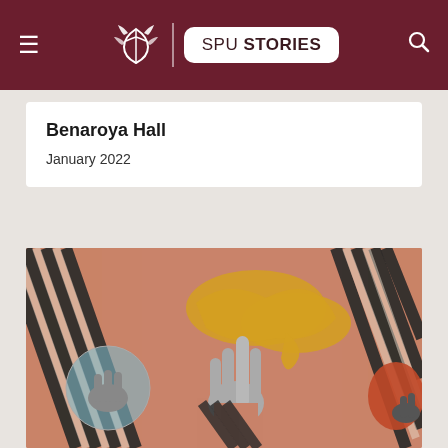SPU STORIES
Benaroya Hall
January 2022
[Figure (illustration): Collage-style artwork showing hands reaching upward against a terracotta/salmon background with abstract yellow and orange shapes, black and white diagonal stripes, and a small circular inset with another hand image on the left.]